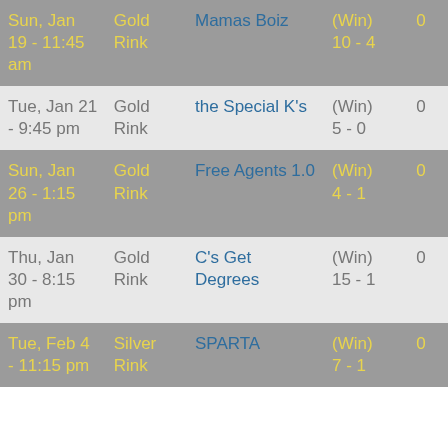| Date | Rink | Opponent | Result | Num |
| --- | --- | --- | --- | --- |
| Sun, Jan 19 - 11:45 am | Gold Rink | Mamas Boiz | (Win) 10 - 4 | 0 |
| Tue, Jan 21 - 9:45 pm | Gold Rink | the Special K's | (Win) 5 - 0 | 0 |
| Sun, Jan 26 - 1:15 pm | Gold Rink | Free Agents 1.0 | (Win) 4 - 1 | 0 |
| Thu, Jan 30 - 8:15 pm | Gold Rink | C's Get Degrees | (Win) 15 - 1 | 0 |
| Tue, Feb 4 - 11:15 pm | Silver Rink | SPARTA | (Win) 7 - 1 | 0 |